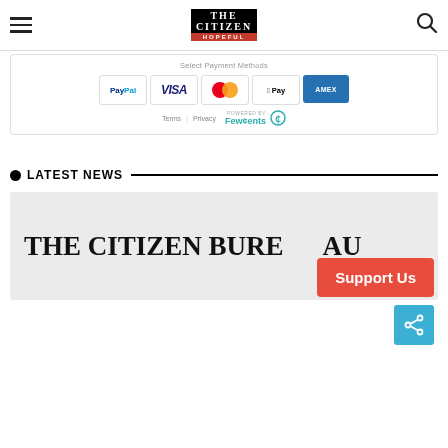The Citizen — Hopeful (navigation bar with hamburger menu, logo, and search icon)
[Figure (screenshot): Payment methods panel showing PayPal, Visa, Mastercard, Apple Pay, and Amex logos, with Terms | Privacy footer and 'Powered by Fewcents' branding]
LATEST NEWS
[Figure (screenshot): Article card with large headline text 'THE CITIZEN BUREAU' on light grey background, with a red 'Support Us' button and blue share icon overlapping]
Support Us
[Figure (other): Blue share button with arrow icon]